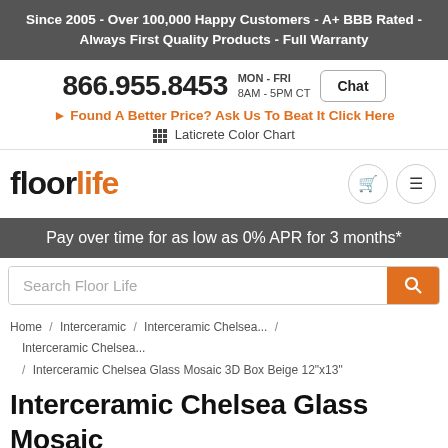Since 2005 - Over 100,000 Happy Customers - A+ BBB Rated - Always First Quality Products - Full Warranty
866.955.8453 MON - FRI 8AM - 5PM CT Chat
Found A Better Price? Ask Us To Beat It Click Here
Laticrete Color Chart
[Figure (logo): floorlife logo in black and orange text]
Pay over time for as low as 0% APR for 3 months*
Search Floor Life
Home / Interceramic / Interceramic Chelsea... / Interceramic Chelsea... / Interceramic Chelsea Glass Mosaic 3D Box Beige 12"x13"
Interceramic Chelsea Glass Mosaic 3D Box Beige 12"x13"